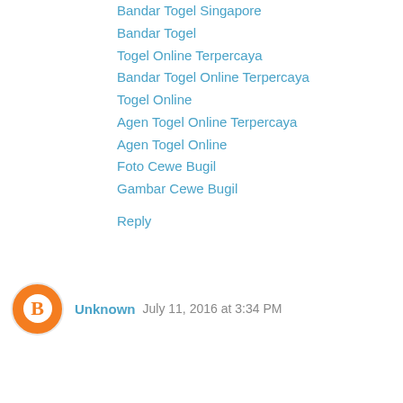Bandar Togel Singapore
Bandar Togel
Togel Online Terpercaya
Bandar Togel Online Terpercaya
Togel Online
Agen Togel Online Terpercaya
Agen Togel Online
Foto Cewe Bugil
Gambar Cewe Bugil
Reply
Unknown  July 11, 2016 at 3:34 PM
Agen Bola Resmi
Bandar bola
Agen Bola Terpercaya
Agen Bola Terbesar